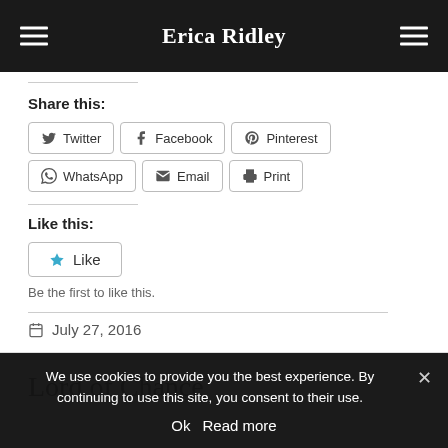Erica Ridley
Share this:
Twitter  Facebook  Pinterest
WhatsApp  Email  Print
Like this:
Like
Be the first to like this.
July 27, 2016
Lord of Chance
We use cookies to provide you the best experience. By continuing to use this site, you consent to their use.
Ok  Read more